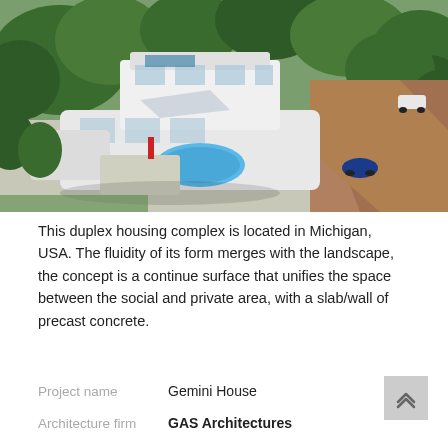[Figure (photo): Aerial rendering of Gemini House duplex housing complex in Michigan, USA. A modern white multi-level building with flat roofs, surrounded by trees, with a blue swimming pool in the courtyard and cars on the driveway.]
This duplex housing complex is located in Michigan, USA. The fluidity of its form merges with the landscape, the concept is a continue surface that unifies the space between the social and private area, with a slab/wall of precast concrete.
Project name    Gemini House
Architecture firm    GAS Architectures